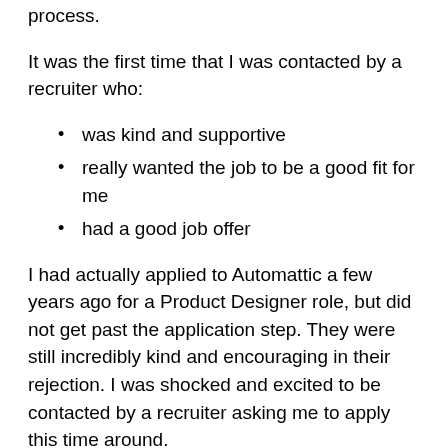process.
It was the first time that I was contacted by a recruiter who:
was kind and supportive
really wanted the job to be a good fit for me
had a good job offer
I had actually applied to Automattic a few years ago for a Product Designer role, but did not get past the application step. They were still incredibly kind and encouraging in their rejection. I was shocked and excited to be contacted by a recruiter asking me to apply this time around.
I sent my resume in, and they passed it along to